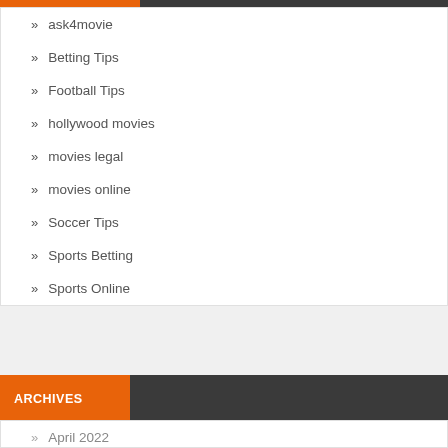ask4movie
Betting Tips
Football Tips
hollywood movies
movies legal
movies online
Soccer Tips
Sports Betting
Sports Online
ARCHIVES
April 2022